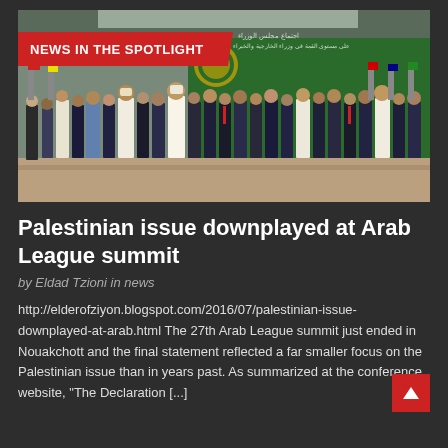[Figure (photo): Group photo of Arab League summit delegates standing in rows in front of green banners and flags, on a red carpet, in formal attire including suits and traditional robes. A 'NEWS IN THE SPOTLIGHT' red label overlays the top-left of the image.]
Palestinian issue downplayed at Arab League summit
by Eldad Tzioni in news
http://elderofziyon.blogspot.com/2016/07/palestinian-issue-downplayed-at-arab.html The 27th Arab League summit just ended in Nouakchott and the final statement reflected a far smaller focus on the Palestinian issue than in years past. As summarized at the conference website, "The Declaration [...]